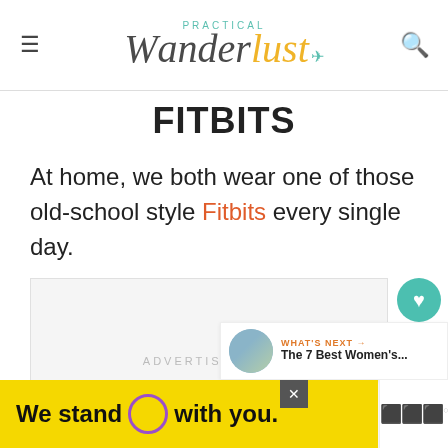[Figure (logo): Practical Wanderlust logo with hamburger menu icon on left and search icon on right]
FITBITS
At home, we both wear one of those old-school style Fitbits every single day.
[Figure (other): Advertisement placeholder box with three dots]
[Figure (other): Social share widget with heart button showing 7.9K and share button]
[Figure (other): What's Next widget: The 7 Best Women's...]
[Figure (other): Bottom advertisement banner: We stand O with you. with close button and logo]